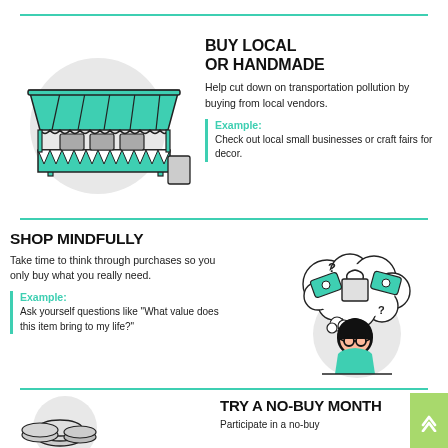[Figure (illustration): Market stall / vendor booth with green awning, bunting flags, and a sign]
BUY LOCAL OR HANDMADE
Help cut down on transportation pollution by buying from local vendors.
Example: Check out local small businesses or craft fairs for decor.
SHOP MINDFULLY
Take time to think through purchases so you only buy what you really need.
Example: Ask yourself questions like "What value does this item bring to my life?"
[Figure (illustration): Person with thought bubble containing shopping bag, money bills, and question marks]
[Figure (illustration): Coins stacked illustration (partially visible)]
TRY A NO-BUY MONTH
Participate in a no-buy